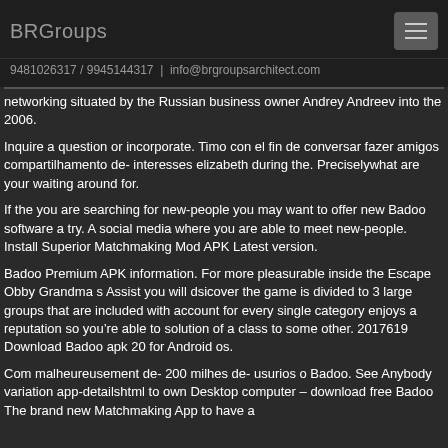BRGroups
9481026317 / 9945144317  |  info@brgroupsarchitect.com
networking situated by the Russian business owner Andrey Andreev into the 2006.
Inquire a question or incorporate. Timo con el fin de conversar fazer amigos compartilhamento de- interesses elizabeth during the. Preciselywhat are your waiting around for.
If the you are searching for new-people you may want to offer new Badoo software a try. A social media where you are able to meet new-people. Install Superior Matchmaking Mod APK Latest version.
Badoo Premium APK information. For more pleasurable inside the Escape Obby Grandma s Assist you will dsicover the game is divided to 3 large groups that are included with account for every single category enjoys a reputation so you’re able to solution of a class to some other. 2017619 Download Badoo apk 20 for Android os.
Com malheureusement de- 200 milhes de- usurios o Badoo. See Anybody variation app-detailshtml to own Desktop computer – download free Badoo The brand new Matchmaking App to have a